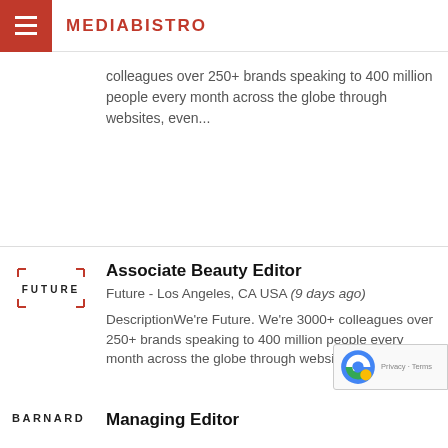MEDIABISTRO
colleagues over 250+ brands speaking to 400 million people every month across the globe through websites, even...
Associate Beauty Editor
Future - Los Angeles, CA USA (9 days ago)
DescriptionWe're Future. We're 3000+ colleagues over 250+ brands speaking to 400 million people every month across the globe through websites, even...
Managing Editor